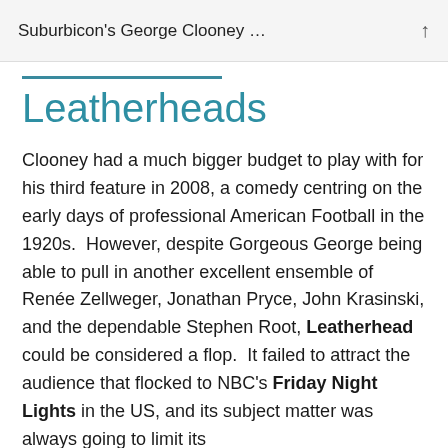Suburbicon's George Clooney …
Leatherheads
Clooney had a much bigger budget to play with for his third feature in 2008, a comedy centring on the early days of professional American Football in the 1920s.  However, despite Gorgeous George being able to pull in another excellent ensemble of Renée Zellweger, Jonathan Pryce, John Krasinski, and the dependable Stephen Root, Leatherhead could be considered a flop.  It failed to attract the audience that flocked to NBC's Friday Night Lights in the US, and its subject matter was always going to limit its